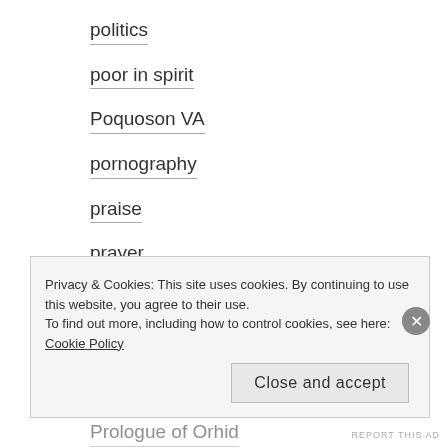politics
poor in spirit
Poquoson VA
pornography
praise
prayer
prayer discipline
prayer rule
preaching
Prologue of Orhid
Privacy & Cookies: This site uses cookies. By continuing to use this website, you agree to their use. To find out more, including how to control cookies, see here: Cookie Policy
Close and accept
REPORT THIS AD